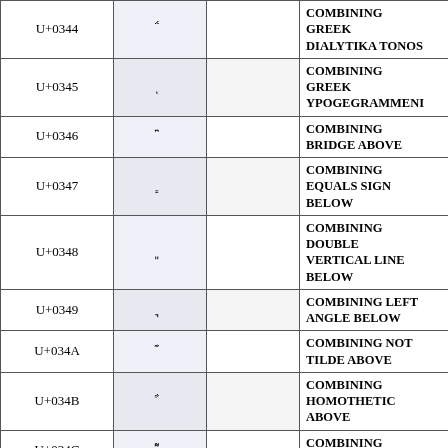| Code | Char |  | Name |
| --- | --- | --- | --- |
| U+0344 | ̈́ |  | COMBINING GREEK DIALYTIKA TONOS |
| U+0345 | ͅ |  | COMBINING GREEK YPOGEGRAMMENI |
| U+0346 | ͆ |  | COMBINING BRIDGE ABOVE |
| U+0347 | ͇ |  | COMBINING EQUALS SIGN BELOW |
| U+0348 | ͈ |  | COMBINING DOUBLE VERTICAL LINE BELOW |
| U+0349 | ͉ |  | COMBINING LEFT ANGLE BELOW |
| U+034A | ͊ |  | COMBINING NOT TILDE ABOVE |
| U+034B | ͋ |  | COMBINING HOMOTHETIC ABOVE |
| U+034C | ͌ |  | COMBINING ALMOST EQUAL |